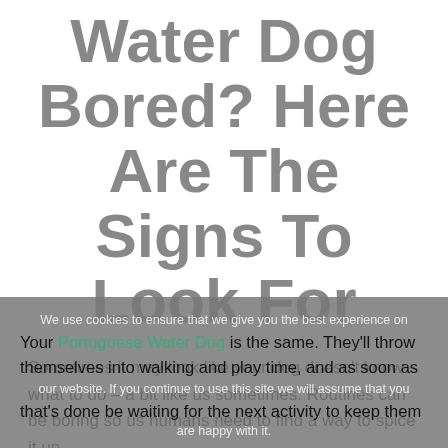Water Dog Bored? Here Are The Signs To Look For
Sometimes it may look like your dog doesn't know what to do – a bit like us sometimes. Routines can be boring so us humans need to find a way to spice it up.
Your Portuguese Water Dog is the same. They'll throw themselves into walking and play time, and as soon as that's done be waiting for the next activity to keep them